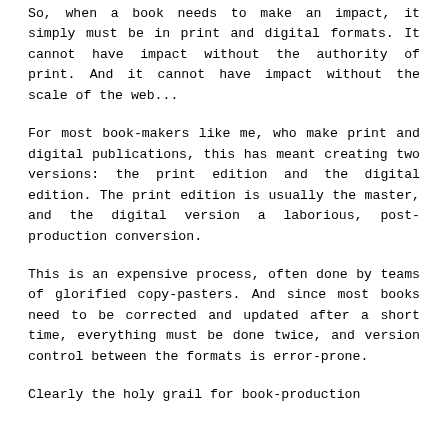So, when a book needs to make an impact, it simply must be in print and digital formats. It cannot have impact without the authority of print. And it cannot have impact without the scale of the web...
For most book-makers like me, who make print and digital publications, this has meant creating two versions: the print edition and the digital edition. The print edition is usually the master, and the digital version a laborious, post-production conversion.
This is an expensive process, often done by teams of glorified copy-pasters. And since most books need to be corrected and updated after a short time, everything must be done twice, and version control between the formats is error-prone.
Clearly the holy grail for book-production